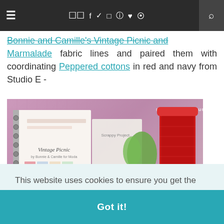≡  [chat icons] f ✦ [instagram] [pinterest] ♥ [rss]  🔍
Bonnie and Camille's Vintage Picnic and Marmalade fabric lines and paired them with coordinating Peppered cottons in red and navy from Studio E -
[Figure (photo): Photo of fabric swatch books (including one labeled 'Vintage Picnic'), a large red thread spool, and a small potted plant on a pink/purple cutting mat. Text 'SEW AT HOME MUMMY' visible in top right corner.]
This website uses cookies to ensure you get the best experience on our website.
Learn more
Got it!